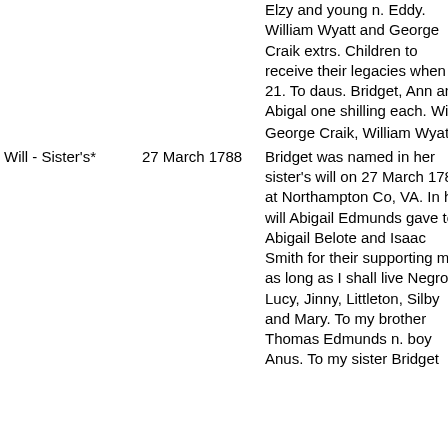| Type | Date | Description |
| --- | --- | --- |
|  |  | Elzy and young n. Eddy. William Wyatt and George Craik extrs. Children to receive their legacies when 21. To daus. Bridget, Ann and Abigal one shilling each. Witt: George Craik, William Wyatt.¹ |
| Will - Sister's* | 27 March 1788 | Bridget was named in her sister's will on 27 March 1788 at Northampton Co, VA. In her will Abigail Edmunds gave to Abigail Belote and Isaac Smith for their supporting me as long as I shall live Negroes Lucy, Jinny, Littleton, Silby and Mary. To my brother Thomas Edmunds n. boy Anus. To my sister Bridget |